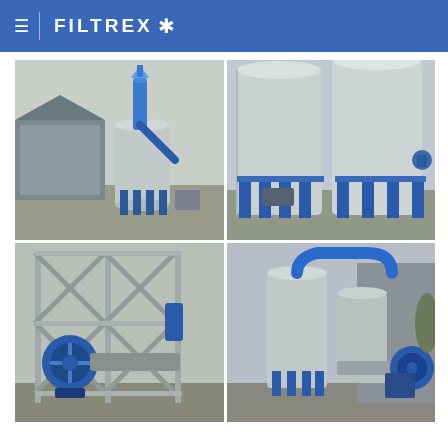FILTREX
[Figure (photo): Industrial filtration equipment outdoors — large silver cylindrical tanks with blue support columns and blue ductwork/cyclone on top, beside a corrugated metal building.]
[Figure (photo): Close-up of large stainless steel cylindrical tank elevated on blue metal support columns, with industrial equipment visible underneath.]
[Figure (photo): Industrial fan/blower unit in blue, mounted inside a steel structural framework with diagonal bracing, outdoors.]
[Figure (photo): Industrial filtration installation with large silver cylindrical tanks and blue ductwork pipes, beside a corrugated metal building.]